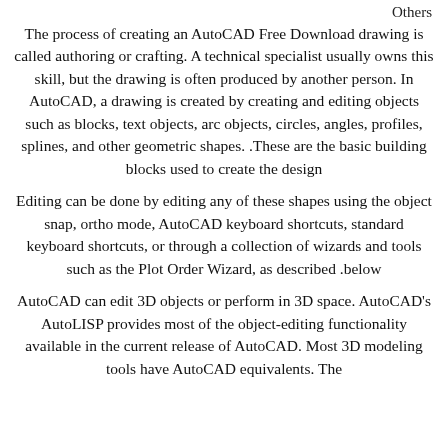Others
The process of creating an AutoCAD Free Download drawing is called authoring or crafting. A technical specialist usually owns this skill, but the drawing is often produced by another person. In AutoCAD, a drawing is created by creating and editing objects such as blocks, text objects, arc objects, circles, angles, profiles, splines, and other geometric shapes. .These are the basic building blocks used to create the design
Editing can be done by editing any of these shapes using the object snap, ortho mode, AutoCAD keyboard shortcuts, standard keyboard shortcuts, or through a collection of wizards and tools such as the Plot Order Wizard, as described .below
AutoCAD can edit 3D objects or perform in 3D space. AutoCAD's AutoLISP provides most of the object-editing functionality available in the current release of AutoCAD. Most 3D modeling tools have AutoCAD equivalents. The